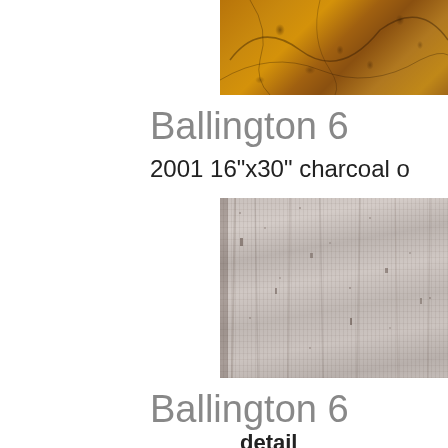[Figure (photo): Partial view of an artwork showing orange/amber tones with dark spots or markings, cropped at right edge]
Ballington 6
2001 16"x30" charcoal o
[Figure (photo): Detail of charcoal drawing showing light gray textured surface with dark marks and linear patterns, cropped at right edge]
Ballington 6
detail